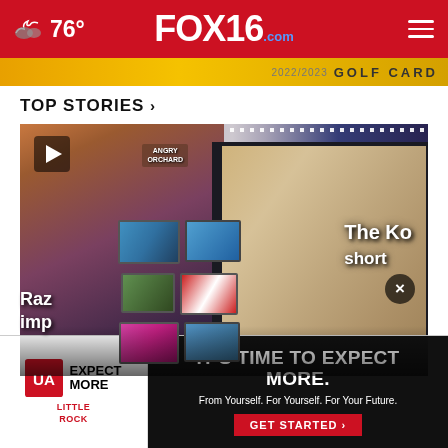76° FOX16.com
[Figure (screenshot): Partially visible advertisement banner with yellow/gold background showing text '2022/2023' and 'GOLF CARD']
TOP STORIES ›
[Figure (photo): Interior of a sports bar with multiple TV screens mounted on a purple/dark wall, ceiling decorated with an American flag and string lights, a large projection screen on the right showing 'The Ko Short', various bar signs and decorations visible including Budweiser signs and Razorback logos]
Raz... imp...
[Figure (screenshot): Advertisement banner for University of Arkansas Little Rock (UA Little Rock) with text 'IT'S TIME TO EXPECT MORE. From Yourself. For Yourself. For Your Future. GET STARTED ›' on dark background, UA logo with 'EXPECT MORE' text on left side]